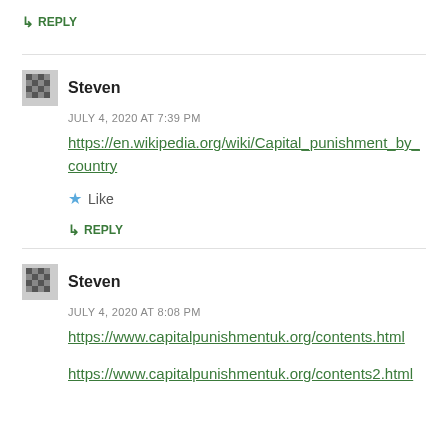↳ REPLY
Steven
JULY 4, 2020 AT 7:39 PM
https://en.wikipedia.org/wiki/Capital_punishment_by_country
★ Like
↳ REPLY
Steven
JULY 4, 2020 AT 8:08 PM
https://www.capitalpunishmentuk.org/contents.html
https://www.capitalpunishmentuk.org/contents2.html